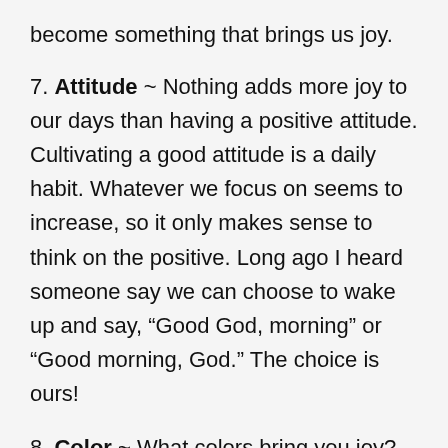become something that brings us joy.
7. Attitude ~ Nothing adds more joy to our days than having a positive attitude. Cultivating a good attitude is a daily habit. Whatever we focus on seems to increase, so it only makes sense to think on the positive. Long ago I heard someone say we can choose to wake up and say, “Good God, morning” or “Good morning, God.” The choice is ours!
8. Color ~ What colors bring you joy? This week I looked at thousands of rugs at a large decorating store. I had to dig deep to find one in a color that made me smile. That peachy-coral rug and a few cans of paint in fresh, happy colors